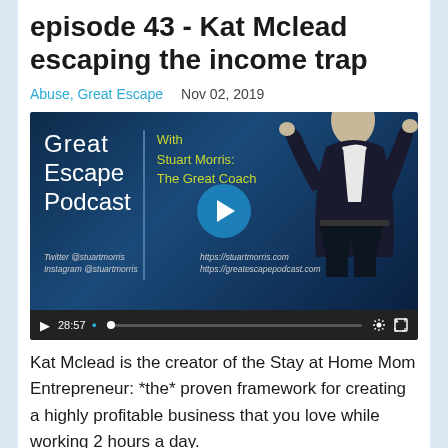episode 43 - Kat Mclead escaping the income trap
Abuse, Great Escape   Nov 02, 2019
[Figure (screenshot): Video thumbnail for Great Escape Podcast with Stuart Morris, The Great Coach. Shows podcast branding on dark blue background with a man in a suit gesturing. Video player controls visible at bottom showing 28:57 duration. Twitter @stuartmorris, Instagram @stuartmorris, https://stuartmorris.com, https://greatescapepodcast.com]
Kat Mclead is the creator of the Stay at Home Mom Entrepreneur: *the* proven framework for creating a highly profitable business that you love while working 2 hours a day.